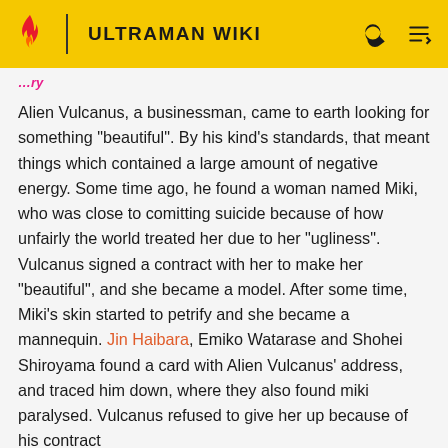ULTRAMAN WIKI
[truncated section heading]
Alien Vulcanus, a businessman, came to earth looking for something "beautiful". By his kind's standards, that meant things which contained a large amount of negative energy. Some time ago, he found a woman named Miki, who was close to comitting suicide because of how unfairly the world treated her due to her "ugliness". Vulcanus signed a contract with her to make her "beautiful", and she became a model. After some time, Miki's skin started to petrify and she became a mannequin. Jin Haibara, Emiko Watarase and Shohei Shiroyama found a card with Alien Vulcanus' address, and traced him down, where they also found miki paralysed. Vulcanus refused to give her up because of his contract